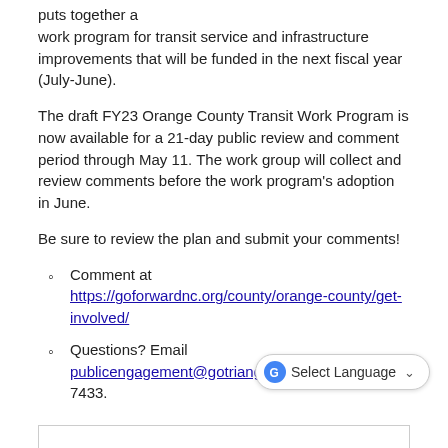puts together a work program for transit service and infrastructure improvements that will be funded in the next fiscal year (July-June).
The draft FY23 Orange County Transit Work Program is now available for a 21-day public review and comment period through May 11. The work group will collect and review comments before the work program's adoption in June.
Be sure to review the plan and submit your comments!
Comment at https://goforwardnc.org/county/orange-county/get-involved/
Questions? Email publicengagement@gotriangle.org or call 919-475-7433.